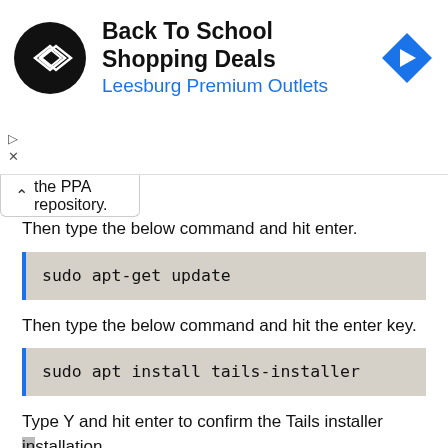[Figure (other): Advertisement banner for Back To School Shopping Deals at Leesburg Premium Outlets with logo and navigation arrow icon]
the PPA repository.
Then type the below command and hit enter.
sudo apt-get update
Then type the below command and hit the enter key.
sudo apt install tails-installer
Type Y and hit enter to confirm the Tails installer installation.